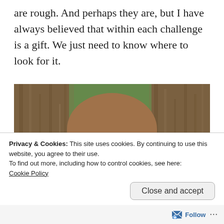are rough. And perhaps they are, but I have always believed that within each challenge is a gift. We just need to know where to look for it.
[Figure (photo): A young girl with long brown hair and black-rimmed round glasses peering out from between two tree trunks with bark texture visible, green foliage in background.]
Privacy & Cookies: This site uses cookies. By continuing to use this website, you agree to their use.
To find out more, including how to control cookies, see here: Cookie Policy
Follow ···